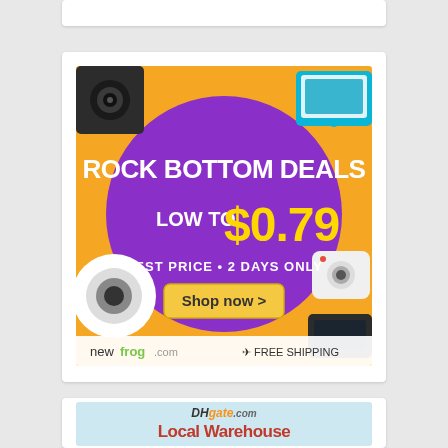[Figure (advertisement): Top partial white card clipped at top of page]
[Figure (advertisement): Newfrog.com advertisement: Rock Bottom Deals, Low to $0.79, Best Price 2 Days Only, Shop now button, Free Shipping. Orange/yellow background with purple circle, gadgets around it.]
[Figure (advertisement): DHgate.com advertisement: light blue background, DHgate.com logo, text 'Local Warehouse' partially visible at bottom of page.]